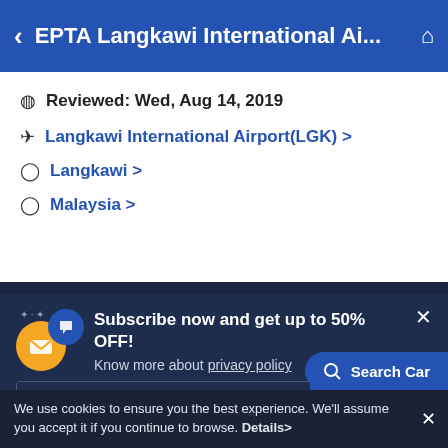EPTA Langkawi International Ai...
Reviewed: Wed, Aug 14, 2019
Langkawi International Airport(LGK) >
Langkawi >
Malaysia >
Subscribe now and get up to 50% OFF!
Know more about privacy policy
Enter your email address
Subscribe
Mini Van | Toyota Innov...
Search Car
We use cookies to ensure you the best experience. We'll assume you accept it if you continue to browse. Details>